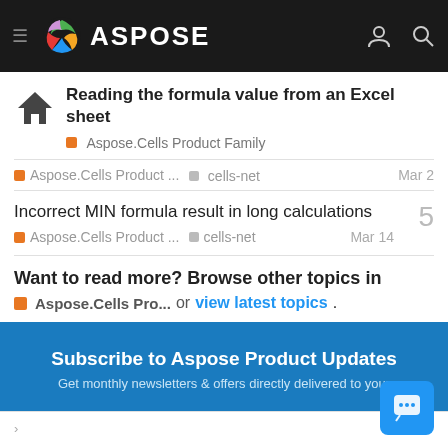ASPOSE
Reading the formula value from an Excel sheet
Aspose.Cells Product Family
Aspose.Cells Product ...   cells-net   Mar 2
Incorrect MIN formula result in long calculations
Aspose.Cells Product ...   cells-net   Mar 14
Want to read more? Browse other topics in Aspose.Cells Pro... or view latest topics.
Subscribe to Aspose Product Updates
Get monthly newsletters & offers directly delivered to your